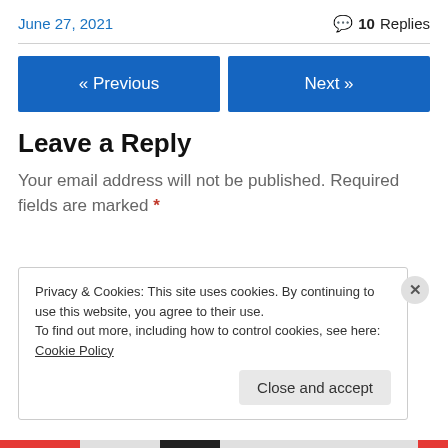June 27, 2021
💬 10 Replies
« Previous
Next »
Leave a Reply
Your email address will not be published. Required fields are marked *
Privacy & Cookies: This site uses cookies. By continuing to use this website, you agree to their use.
To find out more, including how to control cookies, see here: Cookie Policy
Close and accept